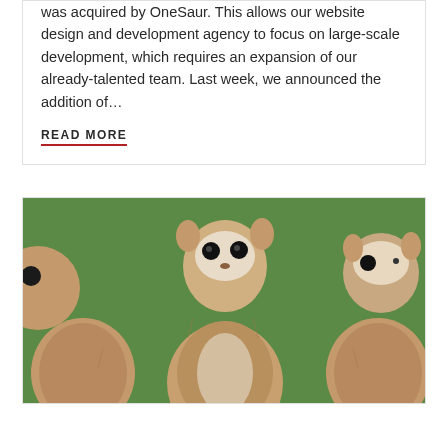was acquired by OneSaur. This allows our website design and development agency to focus on large-scale development, which requires an expansion of our already-talented team. Last week, we announced the addition of…
READ MORE
[Figure (photo): Three meerkats standing upright, photographed from behind/side, with green grass background]